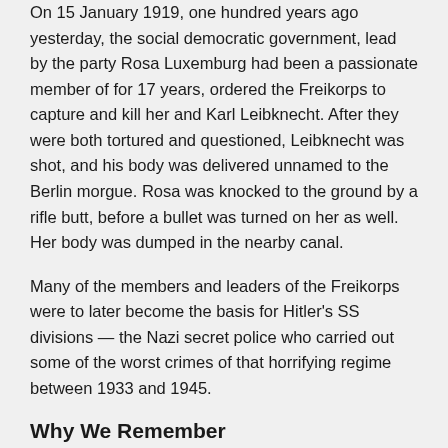On 15 January 1919, one hundred years ago yesterday, the social democratic government, lead by the party Rosa Luxemburg had been a passionate member of for 17 years, ordered the Freikorps to capture and kill her and Karl Leibknecht. After they were both tortured and questioned, Leibknecht was shot, and his body was delivered unnamed to the Berlin morgue. Rosa was knocked to the ground by a rifle butt, before a bullet was turned on her as well. Her body was dumped in the nearby canal.
Many of the members and leaders of the Freikorps were to later become the basis for Hitler's SS divisions — the Nazi secret police who carried out some of the worst crimes of that horrifying regime between 1933 and 1945.
Why We Remember
It is beyond crucial that we remember the lessons of the German Revolution, and the mistakes that were made by the KPD. It is beyond crucial that we remember the treachery of the power-hungry